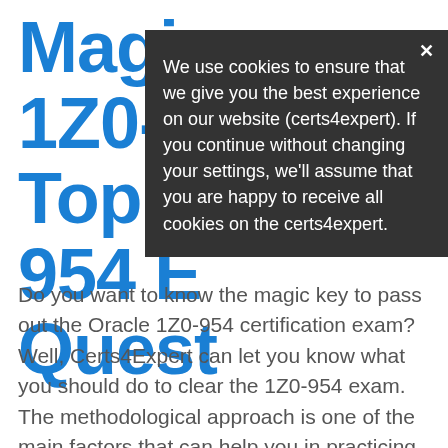Magic 1Z0-9 Top Q 954 E Quest
We use cookies to ensure that we give you the best experience on our website (certs4expert). If you continue without changing your settings, we'll assume that you are happy to receive all cookies on the certs4expert.
Do you want to know the magic key to pass out the Oracle 1Z0-954 certification exam? Well, Certs4Expert can let you know what you should do to clear the 1Z0-954 exam. The methodological approach is one of the main factors that can help you in practicing the 1Z0-954 exam.